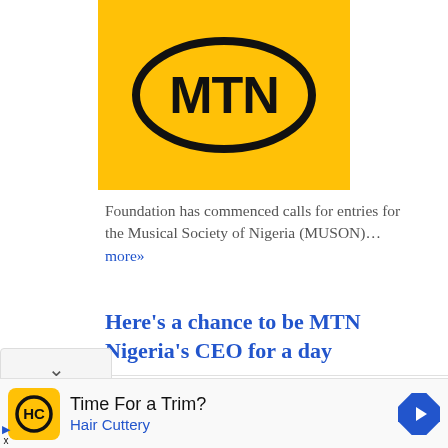[Figure (logo): MTN logo — black oval outline with 'MTN' text on yellow/amber background]
Foundation has commenced calls for entries for the Musical Society of Nigeria (MUSON)… more»
Here's a chance to be MTN Nigeria's CEO for a day
[Figure (infographic): Advertisement: 'Time For a Trim? Hair Cuttery' with HC logo on yellow background and a blue diamond navigation arrow]